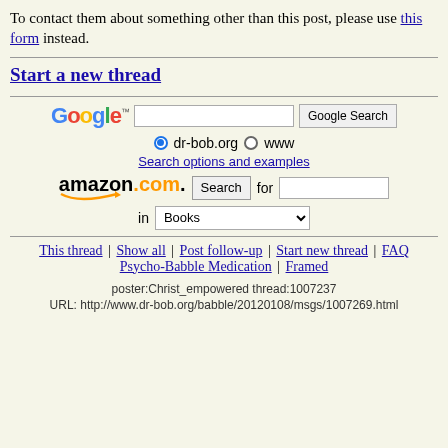To contact them about something other than this post, please use this form instead.
Start a new thread
[Figure (screenshot): Google search box with Google Search button, radio buttons for dr-bob.org and www, and Search options and examples link]
[Figure (screenshot): Amazon.com search box with Search button, for input, and Books dropdown]
This thread | Show all | Post follow-up | Start new thread | FAQ Psycho-Babble Medication | Framed
poster:Christ_empowered thread:1007237
URL: http://www.dr-bob.org/babble/20120108/msgs/1007269.html